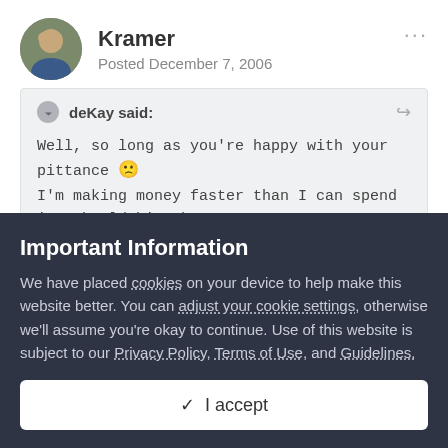Kramer
Posted December 7, 2006
deKay said:
Well, so long as you're happy with your pittance 🙁 I'm making money faster than I can spend it. Should hit the million mark in a few days 🙁
You keep replying to people who are starting the game, with reference to growing chilis. There is no way that breeding pinata
Important Information
We have placed cookies on your device to help make this website better. You can adjust your cookie settings, otherwise we'll assume you're okay to continue. Use of this website is subject to our Privacy Policy, Terms of Use, and Guidelines.
✓  I accept